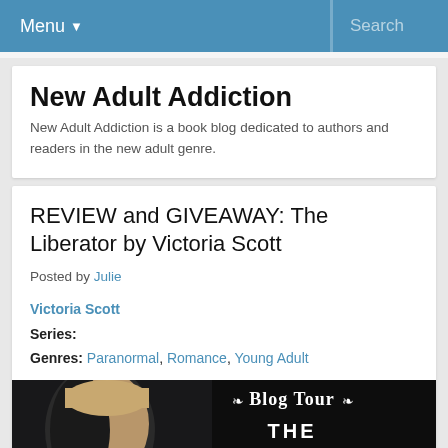Menu ▼   Search
New Adult Addiction
New Adult Addiction is a book blog dedicated to authors and readers in the new adult genre.
REVIEW and GIVEAWAY: The Liberator by Victoria Scott
Posted by Julie
Victoria Scott
Series:
Genres: Paranormal, Romance, Young Adult
[Figure (photo): Blog Tour banner for The Liberator by Victoria Scott, showing a close-up of a young man's face on the left side and text 'Blog Tour THE LIBERATOR BY VICTORIA SCOTT' on the right side against a dark background.]